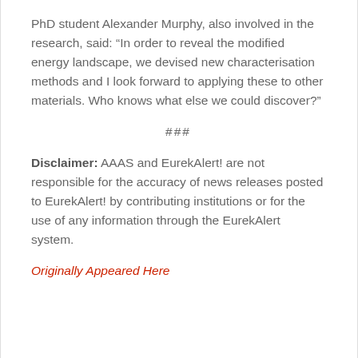PhD student Alexander Murphy, also involved in the research, said: “In order to reveal the modified energy landscape, we devised new characterisation methods and I look forward to applying these to other materials. Who knows what else we could discover?”
###
Disclaimer: AAAS and EurekAlert! are not responsible for the accuracy of news releases posted to EurekAlert! by contributing institutions or for the use of any information through the EurekAlert system.
Originally Appeared Here